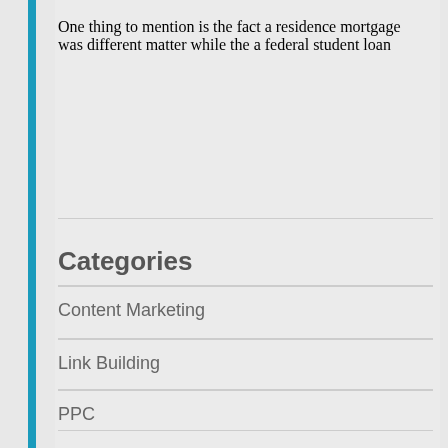One thing to mention is the fact a residence mortgage was different matter while the a federal student loan
Categories
Content Marketing
Link Building
PPC
Q&A Corner with our CEO
SEO
SEO Case Studies
Social Media
Uncategorized